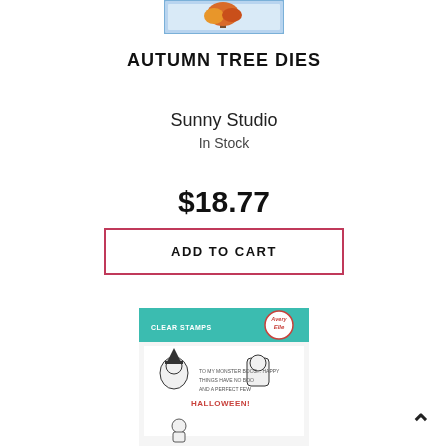[Figure (photo): Partial product image of Autumn Tree Dies at the top of the page, showing a tree illustration with blue border]
AUTUMN TREE DIES
Sunny Studio
In Stock
$18.77
ADD TO CART
[Figure (photo): Product packaging image for Avery Elle Clear Stamps, featuring Halloween-themed stamp designs with characters in costumes, teal header with logo]